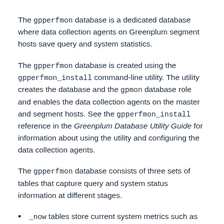The gpperfmon database is a dedicated database where data collection agents on Greenplum segment hosts save query and system statistics.
The gpperfmon database is created using the gpperfmon_install command-line utility. The utility creates the database and the gpmon database role and enables the data collection agents on the master and segment hosts. See the gpperfmon_install reference in the Greenplum Database Utility Guide for information about using the utility and configuring the data collection agents.
The gpperfmon database consists of three sets of tables that capture query and system status information at different stages.
_now tables store current system metrics such as